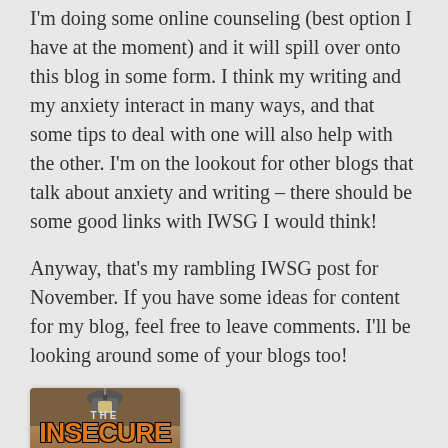I'm doing some online counseling (best option I have at the moment) and it will spill over onto this blog in some form. I think my writing and my anxiety interact in many ways, and that some tips to deal with one will also help with the other. I'm on the lookout for other blogs that talk about anxiety and writing – there should be some good links with IWSG I would think!
Anyway, that's my rambling IWSG post for November. If you have some ideas for content for my blog, feel free to leave comments. I'll be looking around some of your blogs too!
[Figure (logo): The Insecure Writer's Support Group badge/logo with orange stylized text on a dark brown background with a lantern at top]